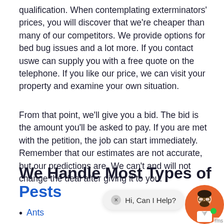qualification. When contemplating exterminators' prices, you will discover that we're cheaper than many of our competitors. We provide options for bed bug issues and a lot more. If you contact uswe can supply you with a free quote on the telephone. If you like our price, we can visit your property and examine your own situation.
From that point, we'll give you a bid. The bid is the amount you'll be asked to pay. If you are met with the petition, the job can start immediately. Remember that our estimates are not accurate, but our predictions are. We can't and will not change the deal after giving it to you.
We Handle Most Types of Pests
Ants